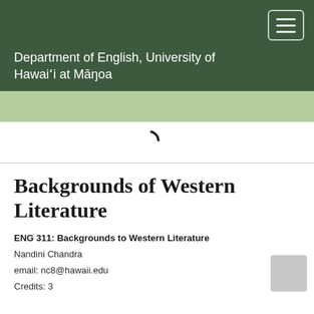Department of English, University of Hawai'i at Māŋoa
Backgrounds of Western Literature
ENG 311: Backgrounds to Western Literature
Nandini Chandra
email: nc8@hawaii.edu
Credits: 3